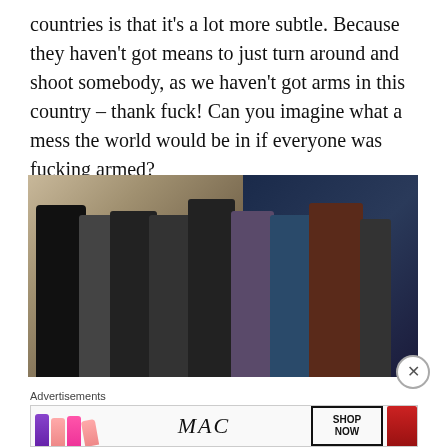countries is that it's a lot more subtle. Because they haven't got means to just turn around and shoot somebody, as we haven't got arms in this country – thank fuck! Can you imagine what a mess the world would be in if everyone was fucking armed?
[Figure (photo): Group photo of approximately 8-9 men standing together indoors, with artwork on walls in background. Left side has warm-toned background, right side has dark blue wall. Men are wearing casual clothing including black turtleneck, hats, plaid shirt, dark sweater.]
Advertisements
[Figure (photo): MAC Cosmetics advertisement banner showing colorful lipsticks on left, MAC logo in center, SHOP NOW button in a box, and red lipstick on right.]